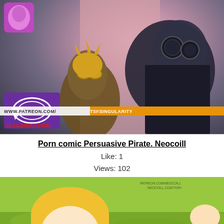[Figure (illustration): Anime/game character artwork showing armored figures with a watermark bar reading 'WWW.PATREON.COM/TSFSINGULARITY' and site watermark 'SEXXOMIX3.COM']
Porn comic Persuasive Pirate. Neocoill
Like: 1
Views: 102
[Figure (illustration): Anime illustration of a blonde-haired character on a green grass background, with a small watermark in the top right corner]